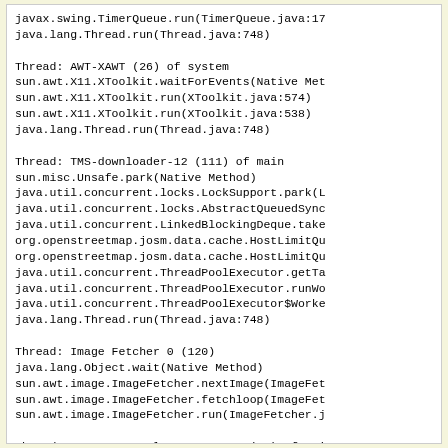javax.swing.TimerQueue.run(TimerQueue.java:17
java.lang.Thread.run(Thread.java:748)

Thread: AWT-XAWT (26) of system
sun.awt.X11.XToolkit.waitForEvents(Native Met
sun.awt.X11.XToolkit.run(XToolkit.java:574)
sun.awt.X11.XToolkit.run(XToolkit.java:538)
java.lang.Thread.run(Thread.java:748)

Thread: TMS-downloader-12 (111) of main
sun.misc.Unsafe.park(Native Method)
java.util.concurrent.locks.LockSupport.park(L
java.util.concurrent.locks.AbstractQueuedSync
java.util.concurrent.LinkedBlockingDeque.take
org.openstreetmap.josm.data.cache.HostLimitQu
org.openstreetmap.josm.data.cache.HostLimitQu
java.util.concurrent.ThreadPoolExecutor.getTa
java.util.concurrent.ThreadPoolExecutor.runWo
java.util.concurrent.ThreadPoolExecutor$Worke
java.lang.Thread.run(Thread.java:748)

Thread: Image Fetcher 0 (120)
java.lang.Object.wait(Native Method)
sun.awt.image.ImageFetcher.nextImage(ImageFet
sun.awt.image.ImageFetcher.fetchloop(ImageFet
sun.awt.image.ImageFetcher.run(ImageFetcher.j

Thread: RemoteControl HTTP Server (91) of mai
java.net.PlainSocketImpl.socketAccept(Native
java.net.AbstractPlainSocketImpl.accept(Abstr
java.awt.Server.SocketImpl.accept(ServerSocke